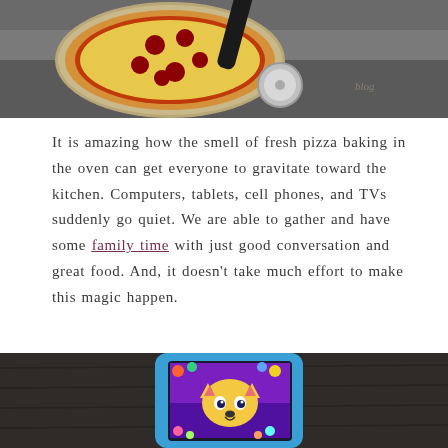[Figure (photo): Top portion of a pizza on a metal pan with a pizza cutter/wheel tool, shot from above on a dark grey surface. A watermark/logo reads 'blog' in the bottom right corner.]
It is amazing how the smell of fresh pizza baking in the oven can get everyone to gravitate toward the kitchen. Computers, tablets, cell phones, and TVs suddenly go quiet. We are able to gather and have some family time with just good conversation and great food. And, it doesn't take much effort to make this magic happen.
[Figure (photo): Partial image of a tablet in a blue protective case, displaying a colorful animated game featuring a cartoon animal face (fox/wolf-like character) with a bright purple/pink game interface, placed on a dark wooden surface.]